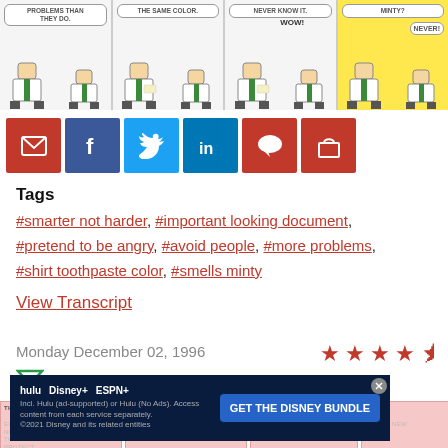[Figure (illustration): Comic strip with 4 panels showing two characters in office setting. Panel 1: speech bubble 'PROBLEMS THAN THEY DO.' Panel 2: 'THE SAME COLOR.' Panel 3: 'NEVER KNOW IT.' with 'WOW!' Panel 4: yellow background, 'MINTY?' and 'NEVER!']
[Figure (infographic): Social sharing buttons row: email (red), Facebook (dark blue), Twitter (blue), LinkedIn (blue), comment (red), shopping cart (red)]
Tags
#smarter not harder, #important looking document, #pretend to be angry, #avoid people, #more problems, #shirt toothpaste color, #smells minty
View Transcript
Monday December 02, 1996
[Figure (illustration): Star rating showing approximately 4.5 out of 5 stars in red]
[Figure (illustration): Next comic strip preview panels with pink background showing partial text about metrics and growth rate]
[Figure (advertisement): Disney Bundle advertisement with Hulu, Disney+, ESPN+ logos and 'GET THE DISNEY BUNDLE' call to action]